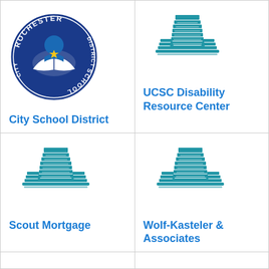[Figure (logo): Rochester City School District circular logo with blue figure holding a book and gold star]
City School District
[Figure (logo): Blue multi-story building icon for UCSC Disability Resource Center]
UCSC Disability Resource Center
[Figure (logo): Blue multi-story building icon for Scout Mortgage]
Scout Mortgage
[Figure (logo): Blue multi-story building icon for Wolf-Kasteler & Associates]
Wolf-Kasteler & Associates
[Figure (logo): Blue multi-story building icon, partially visible bottom left cell]
[Figure (logo): Blue multi-story building icon, partially visible bottom right cell]